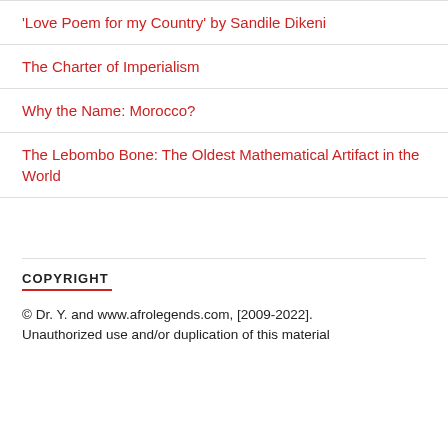'Love Poem for my Country' by Sandile Dikeni
The Charter of Imperialism
Why the Name: Morocco?
The Lebombo Bone: The Oldest Mathematical Artifact in the World
COPYRIGHT
© Dr. Y. and www.afrolegends.com, [2009-2022]. Unauthorized use and/or duplication of this material